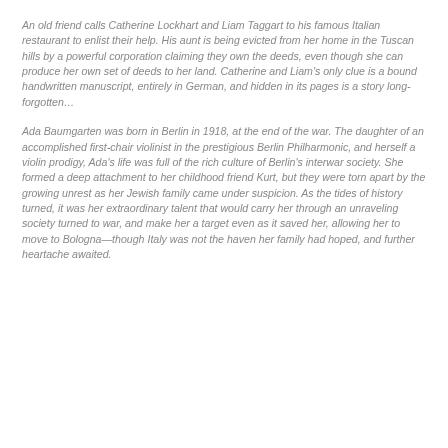An old friend calls Catherine Lockhart and Liam Taggart to his famous Italian restaurant to enlist their help. His aunt is being evicted from her home in the Tuscan hills by a powerful corporation claiming they own the deeds, even though she can produce her own set of deeds to her land. Catherine and Liam's only clue is a bound handwritten manuscript, entirely in German, and hidden in its pages is a story long-forgotten…
Ada Baumgarten was born in Berlin in 1918, at the end of the war. The daughter of an accomplished first-chair violinist in the prestigious Berlin Philharmonic, and herself a violin prodigy, Ada's life was full of the rich culture of Berlin's interwar society. She formed a deep attachment to her childhood friend Kurt, but they were torn apart by the growing unrest as her Jewish family came under suspicion. As the tides of history turned, it was her extraordinary talent that would carry her through an unraveling society turned to war, and make her a target even as it saved her, allowing her to move to Bologna—though Italy was not the haven her family had hoped, and further heartache awaited.